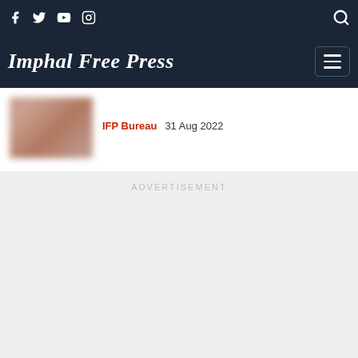Imphal Free Press
IFP Bureau  31 Aug 2022
[Figure (photo): Blurred thumbnail image of a person]
ADVERTISEMENT